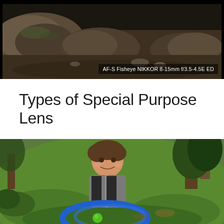[Figure (photo): Fisheye lens photo of rocky landscape with stones and earth, with a text overlay label reading 'AF-S Fisheye NIKKOR 8-15mm f/3.5-4.5E ED']
Types of Special Purpose Lens
[Figure (photo): Fisheye lens photo of a young boy smiling at the camera in a green garden/backyard, holding a blue frisbee, with trees visible in the background. The fisheye distortion creates a circular wide-angle effect.]